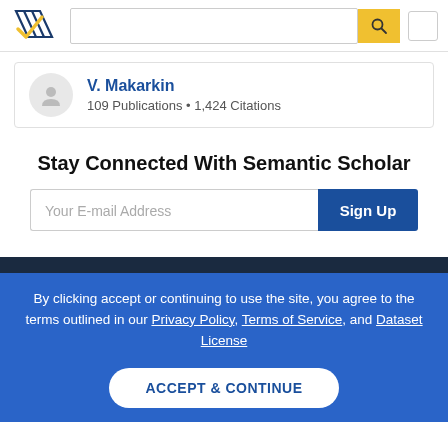[Figure (logo): Semantic Scholar logo — stylized book pages in dark blue and gold checkmark]
V. Makarkin
109 Publications • 1,424 Citations
Stay Connected With Semantic Scholar
Your E-mail Address
Sign Up
By clicking accept or continuing to use the site, you agree to the terms outlined in our Privacy Policy, Terms of Service, and Dataset License
ACCEPT & CONTINUE